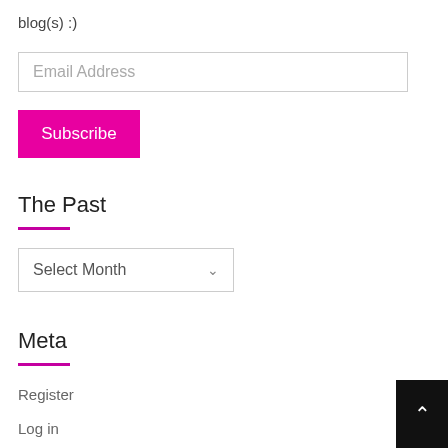blog(s) :)
[Figure (screenshot): Email Address input field with placeholder text]
[Figure (screenshot): Subscribe button in magenta/pink]
The Past
[Figure (screenshot): Select Month dropdown]
Meta
Register
Log in